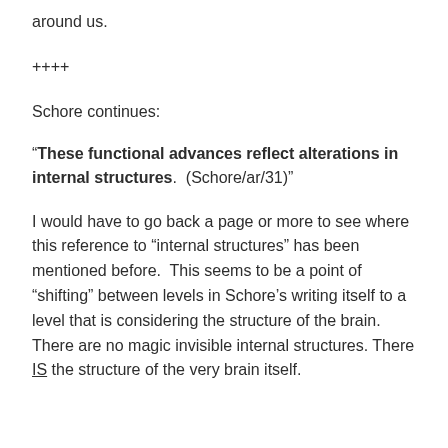around us.
++++
Schore continues:
“These functional advances reflect alterations in internal structures.  (Schore/ar/31)”
I would have to go back a page or more to see where this reference to “internal structures” has been mentioned before.  This seems to be a point of “shifting” between levels in Schore’s writing itself to a level that is considering the structure of the brain.  There are no magic invisible internal structures.  There IS the structure of the very brain itself.